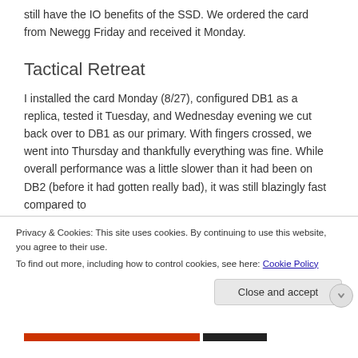still have the IO benefits of the SSD. We ordered the card from Newegg Friday and received it Monday.
Tactical Retreat
I installed the card Monday (8/27), configured DB1 as a replica, tested it Tuesday, and Wednesday evening we cut back over to DB1 as our primary. With fingers crossed, we went into Thursday and thankfully everything was fine. While overall performance was a little slower than it had been on DB2 (before it had gotten really bad), it was still blazingly fast compared to
Privacy & Cookies: This site uses cookies. By continuing to use this website, you agree to their use.
To find out more, including how to control cookies, see here: Cookie Policy
Close and accept